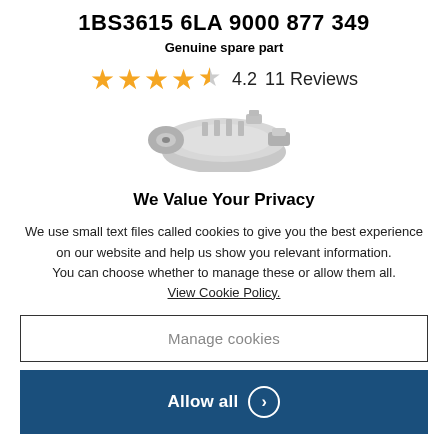1BS3615 6LA 9000 877 349
Genuine spare part
[Figure (illustration): Star rating: 4 full stars and 1 half star out of 5, showing 4.2 rating with 11 Reviews, followed by a photo of a grey automotive spare part (alternator/generator)]
We Value Your Privacy
We use small text files called cookies to give you the best experience on our website and help us show you relevant information.
You can choose whether to manage these or allow them all.
View Cookie Policy.
Manage cookies
Allow all